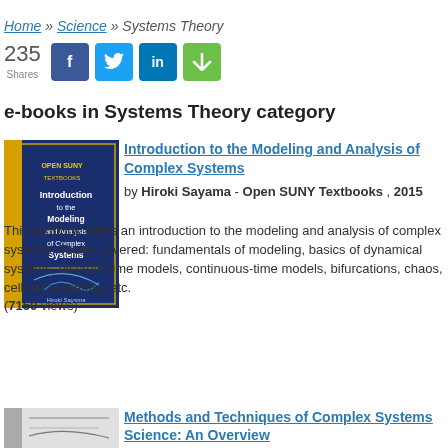Home » Science » Systems Theory
235 Shares [social share buttons: f, twitter, in, share]
e-books in Systems Theory category
[Figure (illustration): Book cover of 'Introduction to the Modeling and Analysis of Complex Systems' by Hiroki Sayama, dark blue cover with yellow title text and circuit-like graphics]
Introduction to the Modeling and Analysis of Complex Systems by Hiroki Sayama - Open SUNY Textbooks , 2015
This textbook offers an introduction to the modeling and analysis of complex systems. Topics covered: fundamentals of modeling, basics of dynamical systems, discrete-time models, continuous-time models, bifurcations, chaos, cellular automata, etc.
(7150 views)
[Figure (illustration): Partial book cover of 'Methods and Techniques of Complex Systems Science: An Overview']
Methods and Techniques of Complex Systems Science: An Overview